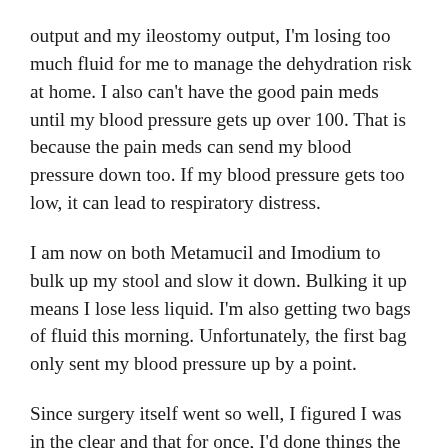output and my ileostomy output, I'm losing too much fluid for me to manage the dehydration risk at home. I also can't have the good pain meds until my blood pressure gets up over 100. That is because the pain meds can send my blood pressure down too. If my blood pressure gets too low, it can lead to respiratory distress.
I am now on both Metamucil and Imodium to bulk up my stool and slow it down. Bulking it up means I lose less liquid. I'm also getting two bags of fluid this morning. Unfortunately, the first bag only sent my blood pressure up by a point.
Since surgery itself went so well, I figured I was in the clear and that for once, I'd done things the easy way. As it turned out, I spoke so soon. I've had post surgery issues no one expected. My mind is all muddled and I